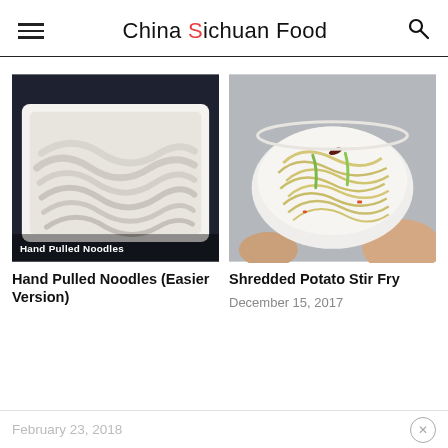China Sichuan Food
[Figure (photo): Hand pulled noodles in a white rectangular tray, flat ribbon-style noodles folded and piled, dark background. Overlay text reads 'Hand Pulled Noodles'.]
Hand Pulled Noodles (Easier Version)
February 23, 2018
[Figure (photo): A bowl of shredded potato stir fry (julienned potatoes) with dried red chili, green pepper strips, held by hand against a grey background.]
Shredded Potato Stir Fry
December 15, 2017